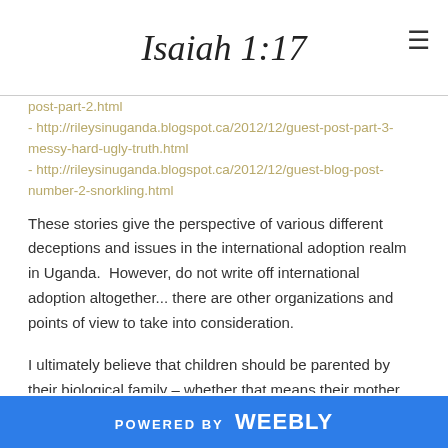Isaiah 1:17
post-part-2.html
- http://rileysinuganda.blogspot.ca/2012/12/guest-post-part-3-messy-hard-ugly-truth.html
- http://rileysinuganda.blogspot.ca/2012/12/guest-blog-post-number-2-snorkling.html
These stories give the perspective of various different deceptions and issues in the international adoption realm in Uganda.  However, do not write off international adoption altogether... there are other organizations and points of view to take into consideration.
I ultimately believe that children should be parented by their biological family – whether that means their mother, father, or a relative – if at all possible.  On the
POWERED BY weebly